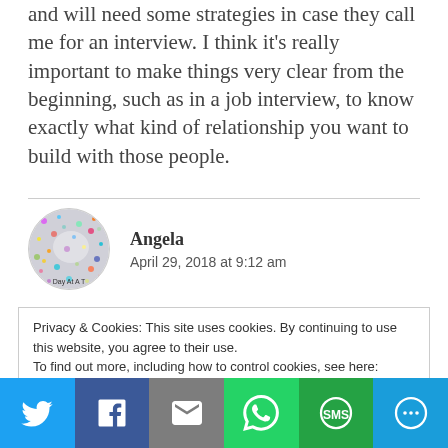and will need some strategies in case they call me for an interview. I think it's really important to make things very clear from the beginning, such as in a job interview, to know exactly what kind of relationship you want to build with those people.
[Figure (photo): Circular avatar image for Angela, showing a glittery/sparkly abstract design, with text 'Day At A T' visible at bottom]
Angela
April 29, 2018 at 9:12 am
Privacy & Cookies: This site uses cookies. By continuing to use this website, you agree to their use.
To find out more, including how to control cookies, see here: Cookie Policy
[Figure (infographic): Social sharing bar with Twitter, Facebook, Email, WhatsApp, SMS, and More buttons]